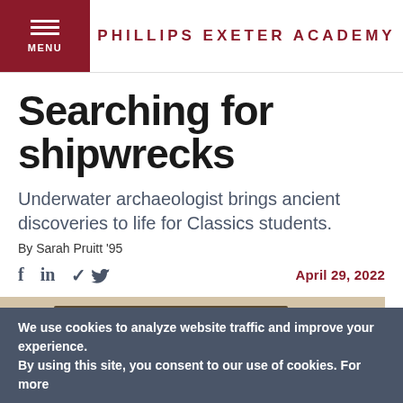PHILLIPS EXETER ACADEMY
Searching for shipwrecks
Underwater archaeologist brings ancient discoveries to life for Classics students.
By Sarah Pruitt '95
April 29, 2022
[Figure (photo): Classroom scene with a person standing near a chalkboard that reads 'salvete!' in chalk. Students are visible in the foreground.]
We use cookies to analyze website traffic and improve your experience. By using this site, you consent to our use of cookies. For more